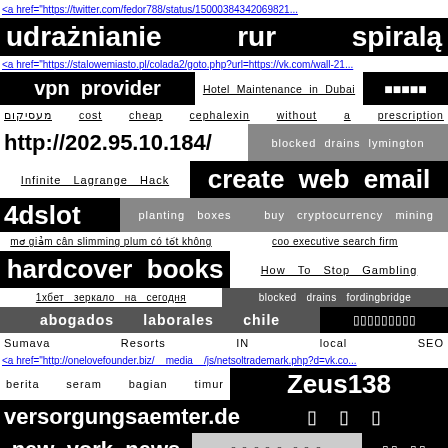<a href="https://twitter.com/fedor788/status/15000384342069821...
udrażnianie rur spiralą
<a href="https://stalowemiasto.pl/colada2/goto.php?url=https://vk.com/wall-21...
vpn provider | Hotel Maintenance in Dubai | [icons]
מעסיקום cost cheap cephalexin without a prescription
http://202.95.10.184/ | blocked drains lymington
Infinite Lagrange Hack | create web email
4dslot | planting boxes | buy cryptocurrency mining
mơ giảm cân slimming plum có tốt không | coo executive search firm
hardcover books | How To Stop Gambling
1хбет зеркало на сегодня | blocked drains fordingbridge
abogados laborales chile | [icons]
Sumava Resorts IN local SEO
<a href="http://onelovefounder.biz/__media__/js/netsoltrademark.php?d=vk.co...
berita seram bagian timur | Zeus138
versorgungsaemter.de | [icons]
new york news | [icons] | [icons]
use of web scraping
Quality Assurance Outsourcing